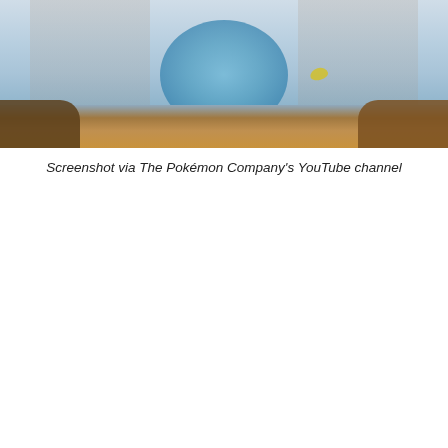[Figure (screenshot): Screenshot from The Pokémon Company's YouTube channel showing an underwater or outdoor scene with rocky terrain at the bottom and a blue sky or water background. Silhouetted figures visible on the left and right sides. A small yellow fish or creature visible in the center-right area.]
Screenshot via The Pokémon Company's YouTube channel